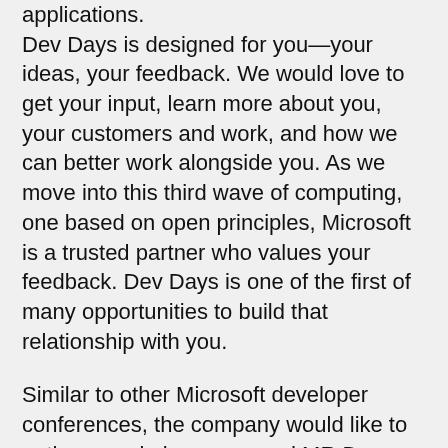applications. Dev Days is designed for you—your ideas, your feedback. We would love to get your input, learn more about you, your customers and work, and how we can better work alongside you. As we move into this third wave of computing, one based on open principles, Microsoft is a trusted partner who values your feedback. Dev Days is one of the first of many opportunities to build that relationship with you.
Similar to other Microsoft developer conferences, the company would like to gather people in person and MR Dev Days will be coalescing individuals at the company's Redmond Campus.